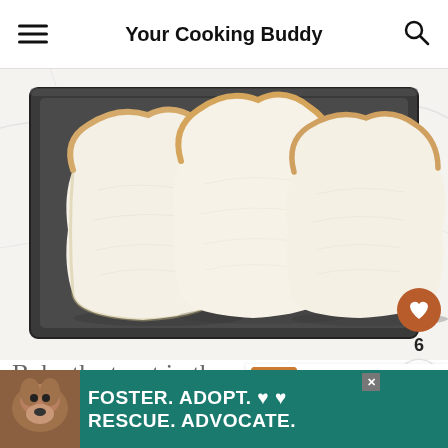Your Cooking Buddy
[Figure (photo): Three slices of white sandwich bread placed flat on a dark non-stick baking sheet, viewed from above on a marble countertop.]
Bake the toast in the oven for 8-10
WHAT'S NEXT → British Beans On Toast...
FOSTER. ADOPT. ♡ ♡ RESCUE. ADVOCATE.